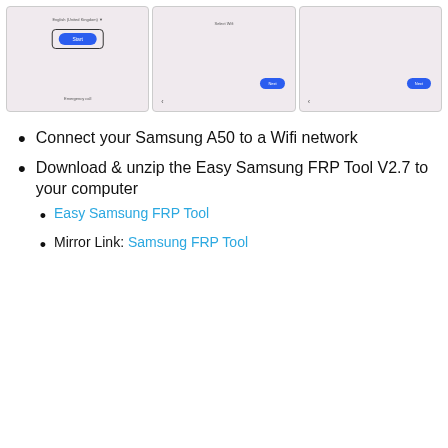[Figure (screenshot): Three smartphone screenshots showing Samsung A50 setup screens: first screen shows language selection with Start button highlighted in blue box, second screen shows Select Wifi with Next button, third screen shows another setup step with Next button]
Connect your Samsung A50 to a Wifi network
Download & unzip the Easy Samsung FRP Tool V2.7 to your computer
Easy Samsung FRP Tool
Mirror Link: Samsung FRP Tool